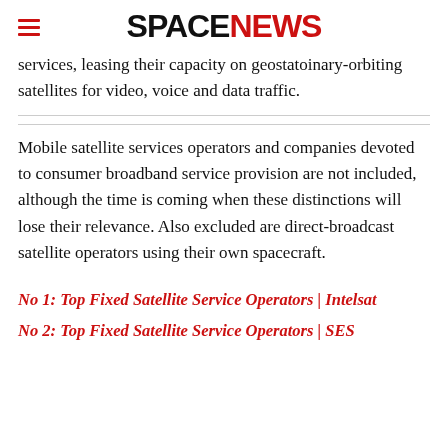SPACENEWS
services, leasing their capacity on geostatoinary-orbiting satellites for video, voice and data traffic.
Mobile satellite services operators and companies devoted to consumer broadband service provision are not included, although the time is coming when these distinctions will lose their relevance. Also excluded are direct-broadcast satellite operators using their own spacecraft.
No 1: Top Fixed Satellite Service Operators | Intelsat
No 2: Top Fixed Satellite Service Operators | SES